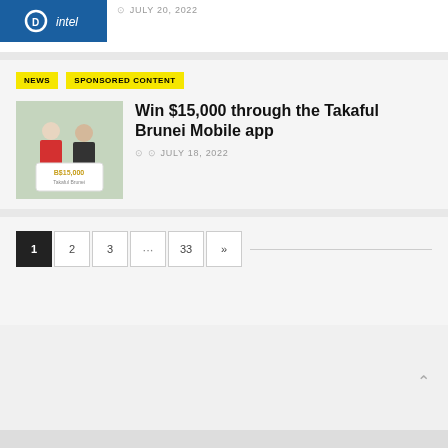[Figure (photo): Photo of people at a Dell/Intel event booth with blue background]
JULY 20, 2022
NEWS   SPONSORED CONTENT
[Figure (photo): Two people holding a large cheque for B$15,000 at a Takaful Brunei event]
Win $15,000 through the Takaful Brunei Mobile app
JULY 18, 2022
1  2  3  ...  33  »